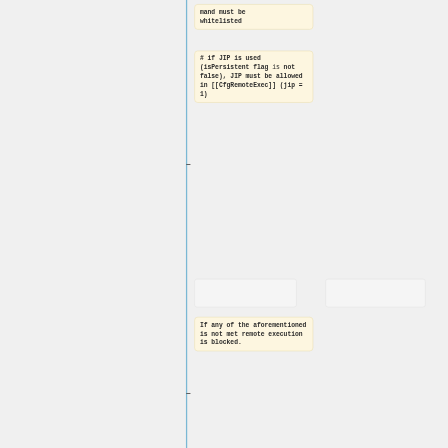mand must be whitelisted
# if JIP is used (isPersistent flag is not false), JIP must be allowed in [[CfgRemoteExec]] (jip = 1)
If any of the aforementioned is not met remote execution is blocked.